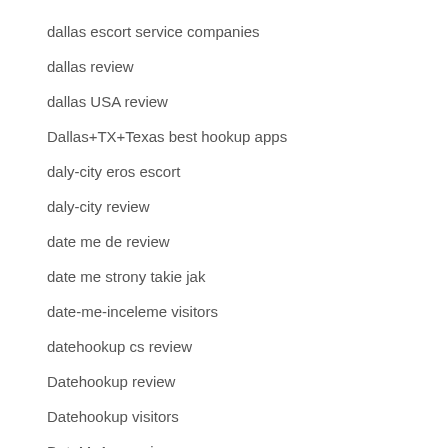dallas escort service companies
dallas review
dallas USA review
Dallas+TX+Texas best hookup apps
daly-city eros escort
daly-city review
date me de review
date me strony takie jak
date-me-inceleme visitors
datehookup cs review
Datehookup review
Datehookup visitors
DateMyAge review
DateMyAge strony takie jak
datemyage NL review